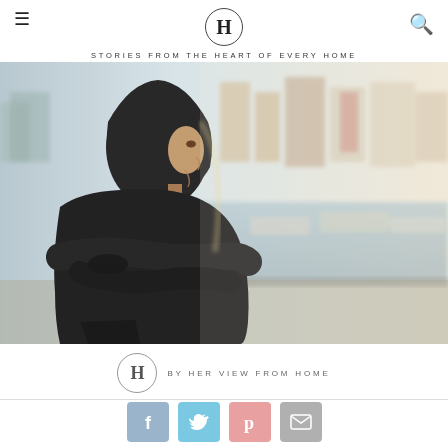H — STORIES FROM THE HEART OF EVERY HOME
[Figure (photo): Young man wearing a dark hoodie, sitting and looking sideways toward a blurred harbor/marina background with boats and colorful buildings]
BY HER VIEW FROM HOME
[Figure (infographic): Social share buttons: Facebook, Twitter, Pinterest, Email]